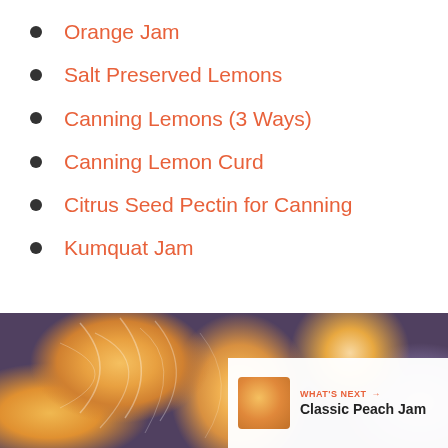Orange Jam
Salt Preserved Lemons
Canning Lemons (3 Ways)
Canning Lemon Curd
Citrus Seed Pectin for Canning
Kumquat Jam
[Figure (photo): Close-up photo of peeled orange citrus segments in a jar, with a 'What's Next' overlay showing Classic Peach Jam and a share button]